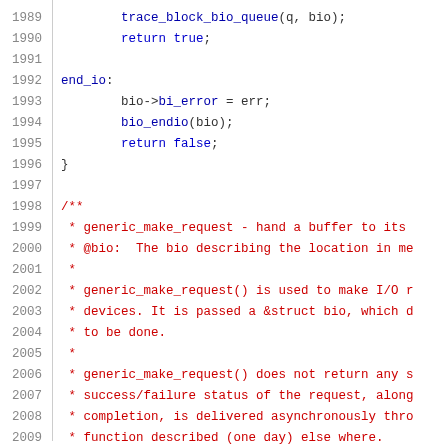Source code listing, lines 1989-2009, C kernel code with comments
1989    trace_block_bio_queue(q, bio);
1990    return true;
1991
1992 end_io:
1993    bio->bi_error = err;
1994    bio_endio(bio);
1995    return false;
1996 }
1997
1998 /**
1999  * generic_make_request - hand a buffer to its
2000  * @bio:  The bio describing the location in me
2001  *
2002  * generic_make_request() is used to make I/O r
2003  * devices. It is passed a &struct bio, which d
2004  * to be done.
2005  *
2006  * generic_make_request() does not return any s
2007  * success/failure status of the request, along
2008  * completion, is delivered asynchronously thro
2009  * function described (one day) else where.